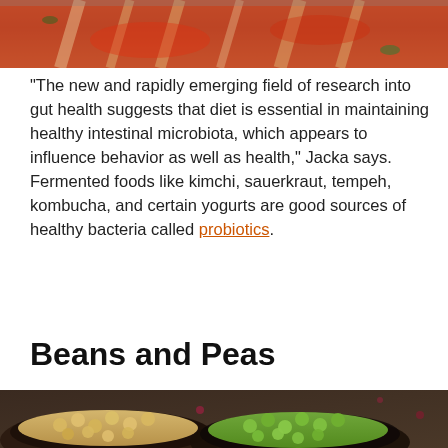[Figure (photo): Top portion of a kimchi or fermented vegetable dish with red sauce in a white bowl, cropped view]
“The new and rapidly emerging field of research into gut health suggests that diet is essential in maintaining healthy intestinal microbiota, which appears to influence behavior as well as health,” Jacka says. Fermented foods like kimchi, sauerkraut, tempeh, kombucha, and certain yogurts are good sources of healthy bacteria called probiotics.
Beans and Peas
[Figure (photo): Bottom portion showing bowls of beans and peas including chickpeas and green peas on a dark background]